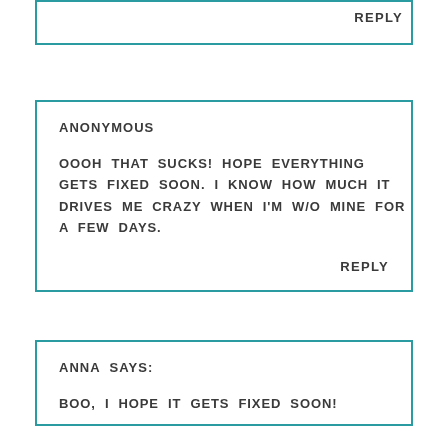REPLY
ANONYMOUS
OOOH THAT SUCKS! HOPE EVERYTHING GETS FIXED SOON. I KNOW HOW MUCH IT DRIVES ME CRAZY WHEN I'M W/O MINE FOR A FEW DAYS.
REPLY
ANNA SAYS:
BOO, I HOPE IT GETS FIXED SOON!